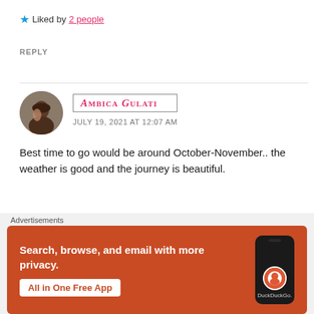★ Liked by 2 people
REPLY
AMBICA GULATI
JULY 19, 2021 AT 12:07 AM
Best time to go would be around October-November.. the weather is good and the journey is beautiful.
[Figure (infographic): DuckDuckGo advertisement banner: orange background with text 'Search, browse, and email with more privacy. All in One Free App' and a phone showing DuckDuckGo logo.]